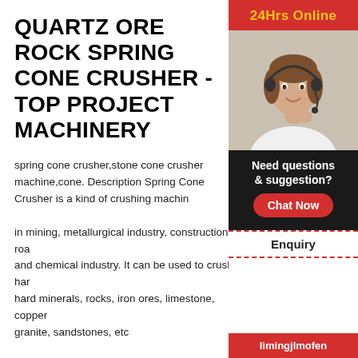QUARTZ ORE ROCK SPRING CONE CRUSHER - TOP PROJECT MACHINERY
spring cone crusher,stone cone crusher machine,cone. Description Spring Cone Crusher is a kind of crushing machine which is widely used in mining, metallurgical industry, construction, road and chemical industry. It can be used to crush hard and hard minerals, rocks, iron ores, limestone, copper granite, sandstones, etc
CRUSHER MACHINE QUARTZ ROCK STONE CRUSHER MACHINE,
quartz crusher, quartz crusher Suppliers and . Febquartz Stone jaw crusher Working Principle The m
[Figure (photo): Photo of a woman wearing a headset, customer service representative, with a red '24Hrs Online' bar above her and a dark panel below showing 'Need questions & suggestion?', a 'Chat Now' button, and an 'Enquiry' section, with 'limingjlmofen' at the bottom.]